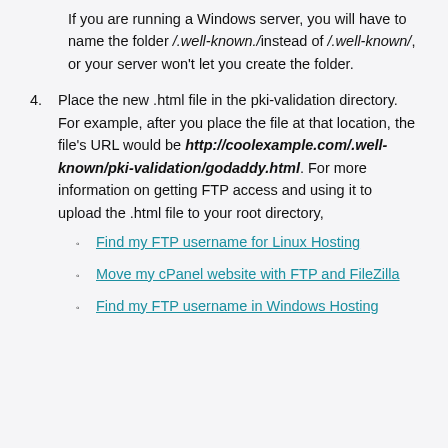If you are running a Windows server, you will have to name the folder /.well-known./instead of /.well-known/, or your server won't let you create the folder.
4. Place the new .html file in the pki-validation directory. For example, after you place the file at that location, the file's URL would be http://coolexample.com/.well-known/pki-validation/godaddy.html. For more information on getting FTP access and using it to upload the .html file to your root directory,
Find my FTP username for Linux Hosting
Move my cPanel website with FTP and FileZilla
Find my FTP username in Windows Hosting